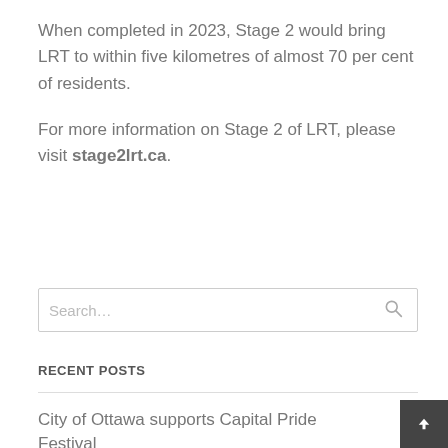When completed in 2023, Stage 2 would bring LRT to within five kilometres of almost 70 per cent of residents.
For more information on Stage 2 of LRT, please visit stage2lrt.ca.
Search...
RECENT POSTS
City of Ottawa supports Capital Pride Festival